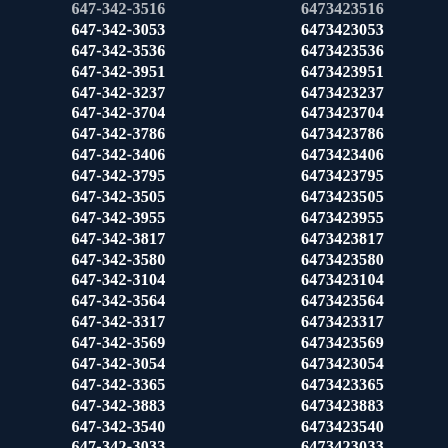| Formatted Number | Plain Number |
| --- | --- |
| 647-342-3516 | 6473423516 |
| 647-342-3053 | 6473423053 |
| 647-342-3536 | 6473423536 |
| 647-342-3951 | 6473423951 |
| 647-342-3237 | 6473423237 |
| 647-342-3704 | 6473423704 |
| 647-342-3786 | 6473423786 |
| 647-342-3406 | 6473423406 |
| 647-342-3795 | 6473423795 |
| 647-342-3505 | 6473423505 |
| 647-342-3955 | 6473423955 |
| 647-342-3817 | 6473423817 |
| 647-342-3580 | 6473423580 |
| 647-342-3104 | 6473423104 |
| 647-342-3564 | 6473423564 |
| 647-342-3317 | 6473423317 |
| 647-342-3569 | 6473423569 |
| 647-342-3054 | 6473423054 |
| 647-342-3365 | 6473423365 |
| 647-342-3883 | 6473423883 |
| 647-342-3540 | 6473423540 |
| 647-342-3033 | 6473423033 |
| 647-342-3430 | 6473423430 |
| 647-342-3187 | 6473423187 |
| 647-342-3721 | 6473423721 |
| 647-342-3342 | 6473423342 |